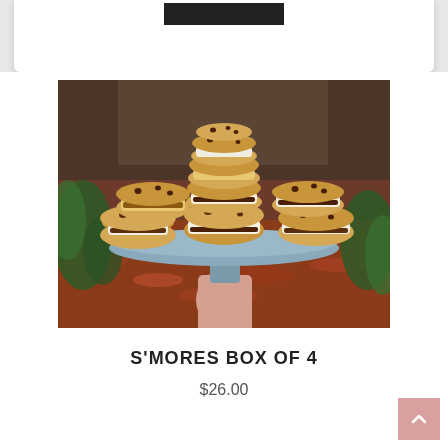[Figure (photo): A stack of s'mores cookie sandwiches piled on a round blue/grey cake stand held by a hand. The cookies are chocolate chip, filled with toasted marshmallow and chocolate. Background shows red mulch and green plants.]
S'MORES BOX OF 4
$26.00